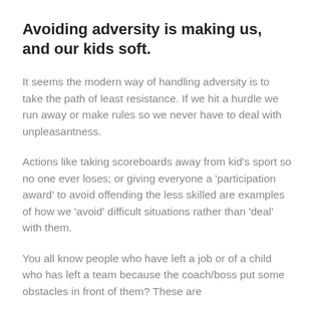Avoiding adversity is making us, and our kids soft.
It seems the modern way of handling adversity is to take the path of least resistance. If we hit a hurdle we run away or make rules so we never have to deal with unpleasantness.
Actions like taking scoreboards away from kid’s sport so no one ever loses; or giving everyone a ‘participation award’ to avoid offending the less skilled are examples of how we ‘avoid’ difficult situations rather than ‘deal’ with them.
You all know people who have left a job or of a child who has left a team because the coach/boss put some obstacles in front of them? These are